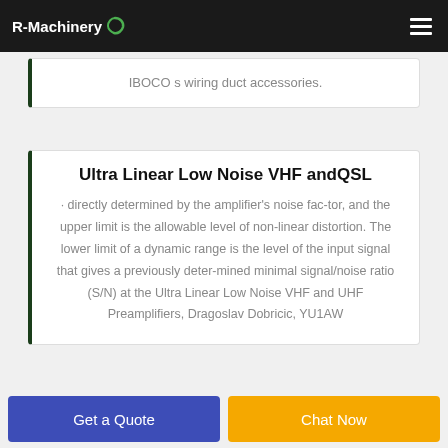R-Machinery
IBOCO s wiring duct accessories.
Ultra Linear Low Noise VHF andQSL
· directly determined by the amplifier's noise fac-tor, and the upper limit is the allowable level of non-linear distortion. The lower limit of a dynamic range is the level of the input signal that gives a previously deter-mined minimal signal/noise ratio (S/N) at the Ultra Linear Low Noise VHF and UHF Preamplifiers, Dragoslav Dobricic, YU1AW
Get a Quote  Chat Now